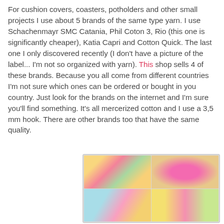For cushion covers, coasters, potholders and other small projects I use about 5 brands of the same type yarn. I use Schachenmayr SMC Catania, Phil Coton 3, Rio (this one is significantly cheaper), Katia Capri and Cotton Quick. The last one I only discovered recently (I don't have a picture of the label... I'm not so organized with yarn). This shop sells 4 of these brands. Because you all come from different countries I'm not sure which ones can be ordered or bought in you country. Just look for the brands on the internet and I'm sure you'll find something. It's all mercerized cotton and I use a 3,5 mm hook. There are other brands too that have the same quality.
[Figure (photo): A 2x2 collage of four crochet project photos: top-left shows colorful striped crochet squares in pink, yellow, orange and green; top-right shows a beige crocheted flower doily/coaster; bottom-left shows a vibrant granny square in cyan, pink, white and orange; bottom-right shows yarn balls and crochet work in yellow, pink and green.]